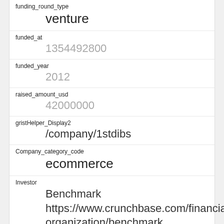funding_round_type
    venture
funded_at
    1354492800
funded_year
    2012
raised_amount_usd
    42000000
gristHelper_Display2
    /company/1stdibs
Company_category_code
    ecommerce
Investor
    Benchmark https://www.crunchbase.com/financial-organization/benchmark
id
    2220
manualSort
    2220
Company